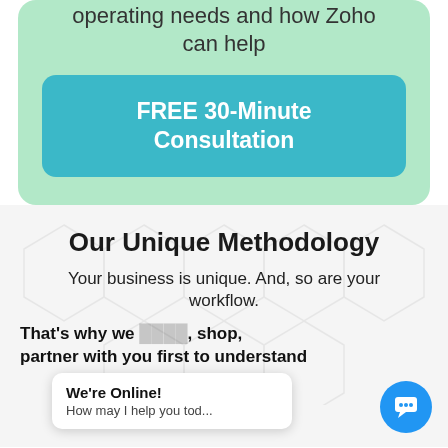operating needs and how Zoho can help
FREE 30-Minute Consultation
Our Unique Methodology
Your business is unique. And, so are your workflow.
That's why we shop, partner with you first to understand
We're Online! How may I help you tod...